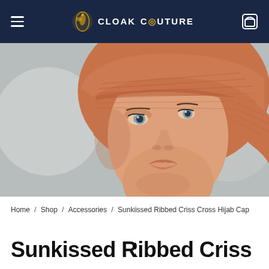CLOAK COUTURE
[Figure (photo): A mannequin head wearing a terracotta/sunkissed orange ribbed criss cross hijab cap, close-up front-facing view against a light blurred background.]
Home / Shop / Accessories / Sunkissed Ribbed Criss Cross Hijab Cap
Sunkissed Ribbed Criss